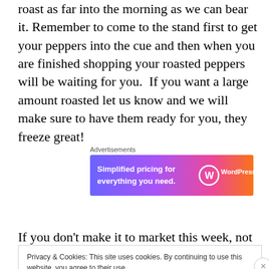roast as far into the morning as we can bear it. Remember to come to the stand first to get your peppers into the cue and then when you are finished shopping your roasted peppers will be waiting for you.  If you want a large amount roasted let us know and we will make sure to have them ready for you, they freeze great!
[Figure (other): WordPress.com advertisement banner with gradient blue-purple-pink background. Left text: 'Simplified pricing for everything you need.' Right: WordPress.com logo with W circle icon.]
If you don't make it to market this week, not to worry we
Privacy & Cookies: This site uses cookies. By continuing to use this website, you agree to their use.
To find out more, including how to control cookies, see here: Cookie Policy